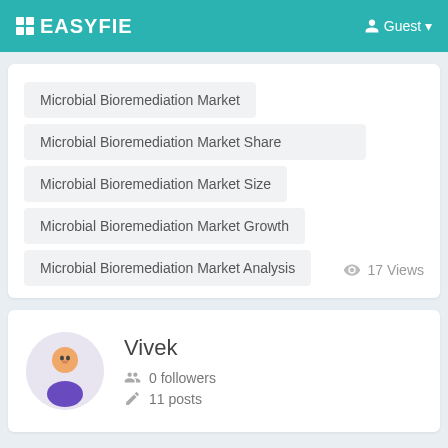EASYFIE  Guest
Microbial Bioremediation Market
Microbial Bioremediation Market Share
Microbial Bioremediation Market Size
Microbial Bioremediation Market Growth
Microbial Bioremediation Market Analysis
17 Views
Vivek
0 followers
11 posts